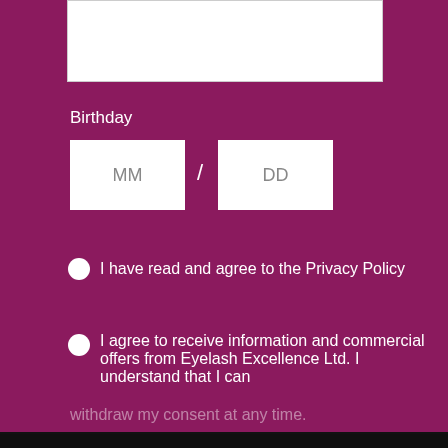[Figure (screenshot): Web form screenshot with purple background showing Birthday input fields (MM/DD), radio buttons for privacy policy and commercial offers consent, and a cookie consent banner overlay at the bottom.]
Birthday
MM
DD
I have read and agree to the Privacy Policy
I agree to receive information and commercial offers from Eyelash Excellence Ltd. I understand that I can withdraw my consent at any time.
We use cookies to offer you a better browsing experience, analyze site traffic, personalize content, and serve targeted advertisements. Read about how we use them by clicking "Privacy Preferences".
Privacy Preferences
I Agree